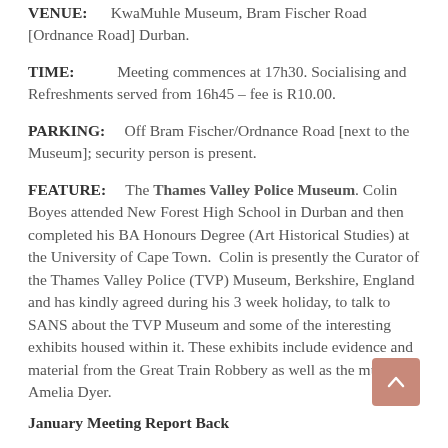VENUE: KwaMuhle Museum, Bram Fischer Road [Ordnance Road] Durban.
TIME: Meeting commences at 17h30. Socialising and Refreshments served from 16h45 – fee is R10.00.
PARKING: Off Bram Fischer/Ordnance Road [next to the Museum]; security person is present.
FEATURE: The Thames Valley Police Museum. Colin Boyes attended New Forest High School in Durban and then completed his BA Honours Degree (Art Historical Studies) at the University of Cape Town. Colin is presently the Curator of the Thames Valley Police (TVP) Museum, Berkshire, England and has kindly agreed during his 3 week holiday, to talk to SANS about the TVP Museum and some of the interesting exhibits housed within it. These exhibits include evidence and material from the Great Train Robbery as well as the murderer Amelia Dyer.
January Meeting Report Back